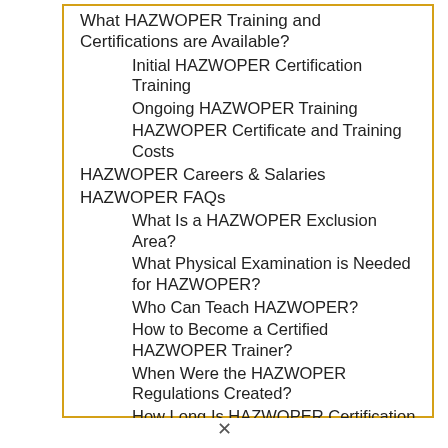What HAZWOPER Training and Certifications are Available?
Initial HAZWOPER Certification Training
Ongoing HAZWOPER Training
HAZWOPER Certificate and Training Costs
HAZWOPER Careers & Salaries
HAZWOPER FAQs
What Is a HAZWOPER Exclusion Area?
What Physical Examination is Needed for HAZWOPER?
Who Can Teach HAZWOPER?
How to Become a Certified HAZWOPER Trainer?
When Were the HAZWOPER Regulations Created?
How Long Is HAZWOPER Certification Good For?